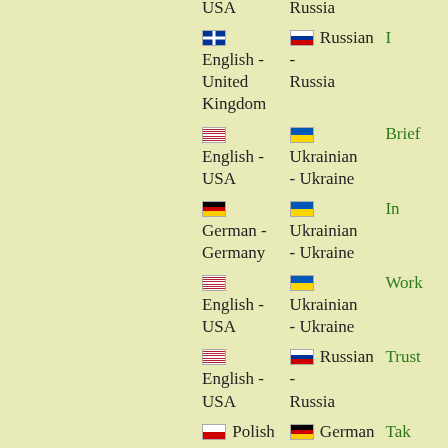| From | To | Keyword |
| --- | --- | --- |
| USA | Russia |  |
| 🇬🇧 English - United Kingdom | 🇷🇺 Russian - Russia | I |
| 🇺🇸 English - USA | 🇺🇦 Ukrainian - Ukraine | Brief |
| 🇩🇪 German - Germany | 🇺🇦 Ukrainian - Ukraine | In |
| 🇺🇸 English - USA | 🇺🇦 Ukrainian - Ukraine | Work |
| 🇺🇸 English - USA | 🇷🇺 Russian - Russia | Trust |
| 🇵🇱 Polish - Poland | 🇩🇪 German - Germany | Tak |
| 🇺🇸 English - USA | 🇧🇾 Belarusian - Belarus | Fraud |
| 🇬🇧 English - United Kingdom | 🇺🇦 Ukrainian - Ukraine | Current |
| 🇩🇪 German - Germany | 🇺🇦 Ukrainian - Ukraine | Angebot |
| 🇺🇸 English - USA | 🇺🇦 Ukrainian - Ukraine | For |
| 🇺🇸 English - USA | 🇷🇺 Russian - Russia | Pain |